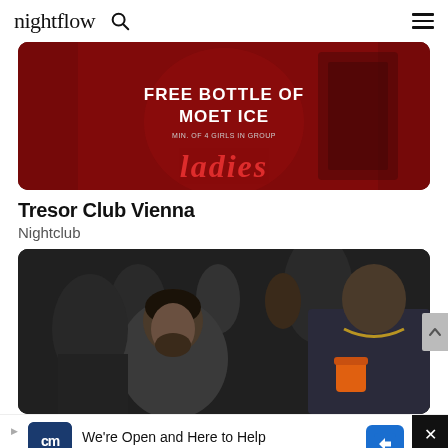nightflow
[Figure (photo): Red promotional nightclub image with text 'FREE BOTTLE OF MOET ICE' and cursive 'Ladies' neon text in red, woman in red outfit in background]
Tresor Club Vienna
Nightclub
[Figure (photo): Dark nightclub party photo showing two men in foreground, one bearded man in dark blazer looking down, another man in dark shirt holding orange cup with gold chain necklace, crowd in background]
[Figure (other): CarMax advertisement banner: 'We're Open and Here to Help' with CarMax logo and navigation arrow icon]